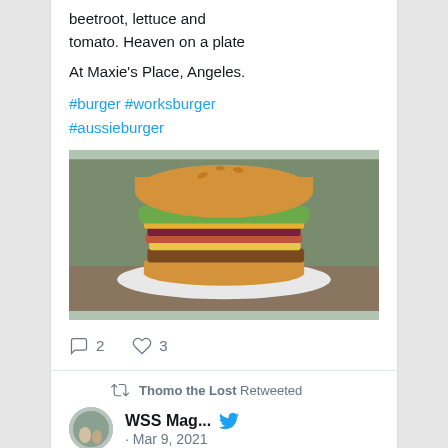beetroot, lettuce and tomato. Heaven on a plate
At Maxie's Place, Angeles.
#burger #worksburger #aussieburger
[Figure (photo): Photo of a tall burger with lettuce, tomato, and bacon on a white plate]
2  3 (reply and like counts)
Thomo the Lost Retweeted
WSS Mag...  · Mar 9, 2021
Your 2021 Caesar Award Nominees, a new video by